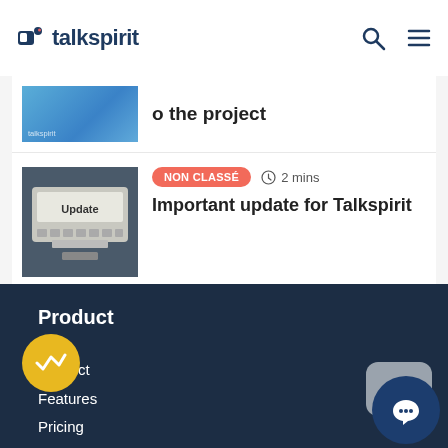talkspirit
[Figure (screenshot): Talkspirit branded thumbnail image in blue]
o the project
[Figure (photo): Photo of someone typing on keyboard with 'Update' text visible]
NON CLASSÉ  2 mins
Important update for Talkspirit
Product
Product
Features
Pricing
Integrations
API / Webhooks
Desktop apps
Mobile apps